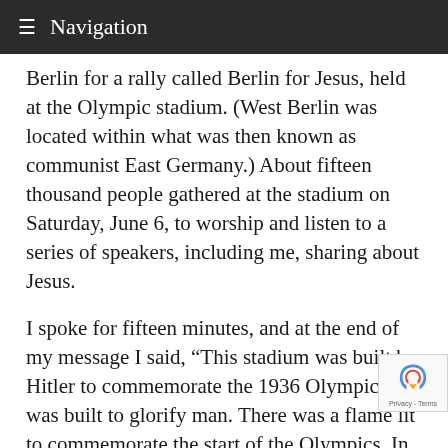≡ Navigation
Berlin for a rally called Berlin for Jesus, held at the Olympic stadium. (West Berlin was located within what was then known as communist East Germany.) About fifteen thousand people gathered at the stadium on Saturday, June 6, to worship and listen to a series of speakers, including me, sharing about Jesus.
I spoke for fifteen minutes, and at the end of my message I said, “This stadium was built by Hitler to commemorate the 1936 Olympics. It was built to glorify man. There was a flame lit to commemorate the start of the Olympics. In just a moment I am going to take this cross and carry it across this field, up the steps, and we are going to raise the cross above where the torch burned. I pray that those who hunger and thirst will be filled with the fire of the Holy Spirit.”